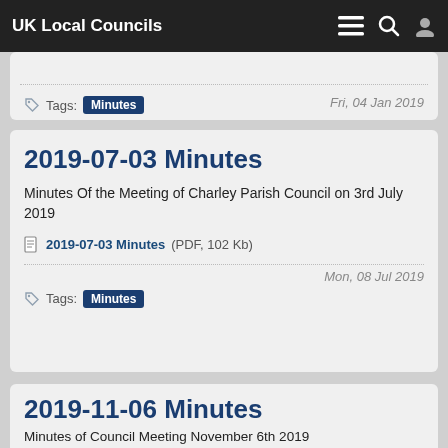UK Local Councils
Fri, 04 Jan 2019
Tags: Minutes
2019-07-03 Minutes
Minutes Of the Meeting of Charley Parish Council on 3rd July 2019
2019-07-03 Minutes (PDF, 102 Kb)
Mon, 08 Jul 2019
Tags: Minutes
2019-11-06 Minutes
Minutes of Council Meeting November 6th 2019